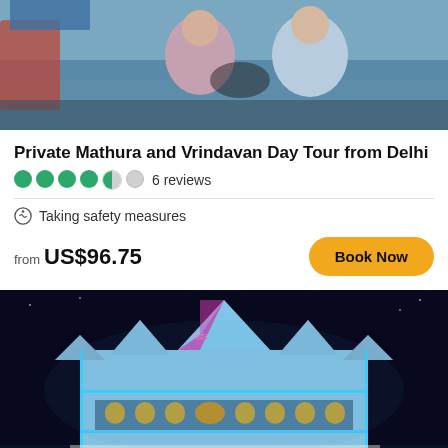[Figure (photo): Photo of two people sitting on a boat, one in pink top, one in light blue shirt]
Private Mathura and Vrindavan Day Tour from Delhi
4.5 out of 5 circles rating — 6 reviews
Taking safety measures
from US$96.75
Book Now
[Figure (photo): Nighttime photo of an illuminated Indian temple (Prem Mandir / Vrindavan) with blue, pink and golden lights, crowd of people in foreground]